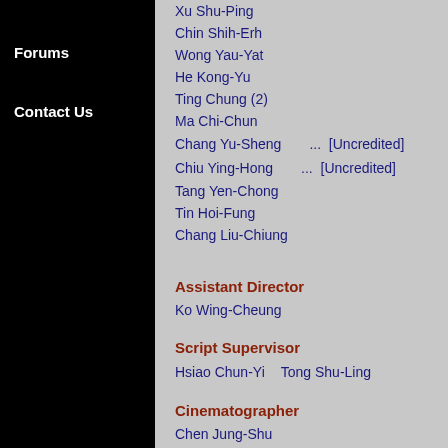Forums
Contact Us
Xu Shu-Ping
Chin Shih-Erh
Wong Yau-Yat
He Kong-Yu
Ting Chung (2)
Ma Chi-Chun
Chang Yu-Sheng ... [Uncredited]
Chiu Ying-Hong ... [Uncredited]
Tang Yen-Chong
Tin Hoi-Fung
Chang Liu-Chiung
Assistant Director
Ko Wing-Cheung
Script Supervisor
Hsiao Chun-Yi    Tong Shu-Ling
Cinematographer
Chen Jung-Shu